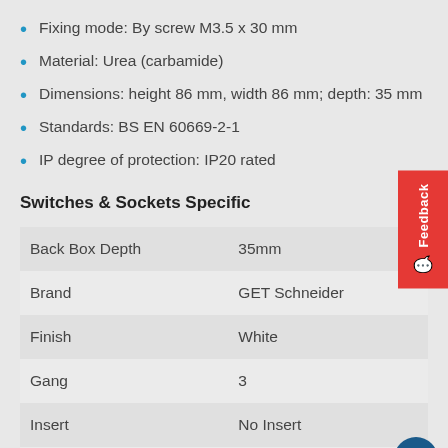Fixing mode: By screw M3.5 x 30 mm
Material: Urea (carbamide)
Dimensions: height 86 mm, width 86 mm; depth: 35 mm
Standards: BS EN 60669-2-1
IP degree of protection: IP20 rated
Switches & Sockets Specific
|  |  |
| --- | --- |
| Back Box Depth | 35mm |
| Brand | GET Schneider |
| Finish | White |
| Gang | 3 |
| Insert | No Insert |
| Plate | Plastic |